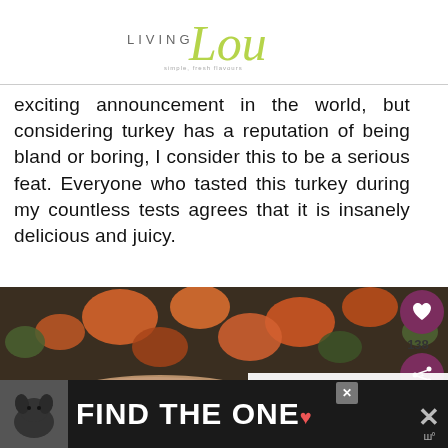LIVING Lou - simple, fresh flavours
exciting announcement in the world, but considering turkey has a reputation of being bland or boring, I consider this to be a serious feat. Everyone who tasted this turkey during my countless tests agrees that it is insanely delicious and juicy.
[Figure (photo): Close-up food photo of roasted turkey with vegetables (carrots, Brussels sprouts) on a dark pan or slate surface.]
[Figure (infographic): WHAT'S NEXT banner showing thumbnail image and text: One-pan chicken with...]
[Figure (photo): Advertisement banner with dog photo and text: FIND THE ONE with heart icon]